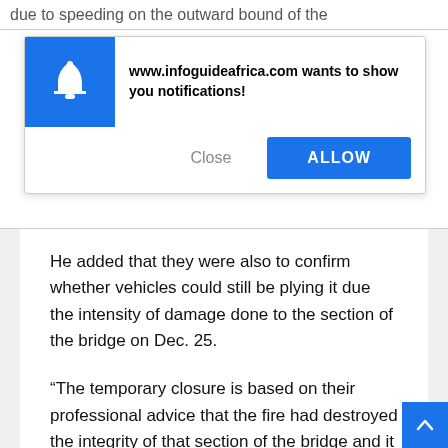due to speeding on the outward bound of the
[Figure (screenshot): Browser notification permission dialog from www.infoguideafrica.com with a blue bell icon on the left, text 'www.infoguideafrica.com wants to show you notifications!', a Close button and a blue ALLOW button.]
He added that they were also to confirm whether vehicles could still be plying it due the intensity of damage done to the section of the bridge on Dec. 25.
“The temporary closure is based on their professional advice that the fire had destroyed the integrity of that section of the bridge and it will not be safe for motorists until it had been reinforced."